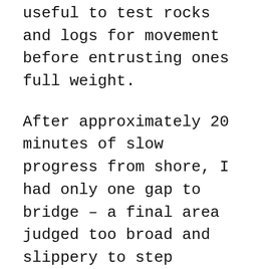useful to test rocks and logs for movement before entrusting ones full weight.
After approximately 20 minutes of slow progress from shore, I had only one gap to bridge – a final area judged too broad and slippery to step across. So, using my trekking poles to tamp unseen surfaces beneath the rolling, muddy river, I carefully walked a short distance through knee deep water, shoreside of